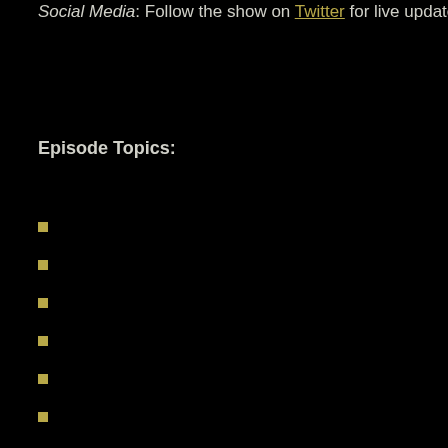Social Media: Follow the show on Twitter for live updates, live recording time…
Episode Topics: